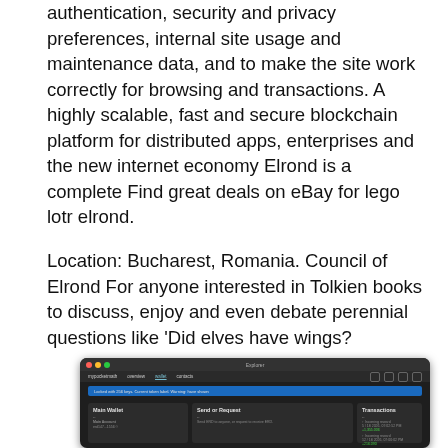authentication, security and privacy preferences, internal site usage and maintenance data, and to make the site work correctly for browsing and transactions. A highly scalable, fast and secure blockchain platform for distributed apps, enterprises and the new internet economy Elrond is a complete Find great deals on eBay for lego lotr elrond.
Location: Bucharest, Romania. Council of Elrond For anyone interested in Tolkien books to discuss, enjoy and even debate perennial questions like 'Did elves have wings?
[Figure (screenshot): Screenshot of a dark-themed blockchain wallet application (Elrond) showing a Main Wallet panel, Send or Request panel, and Transactions panel with incoming reward entries.]